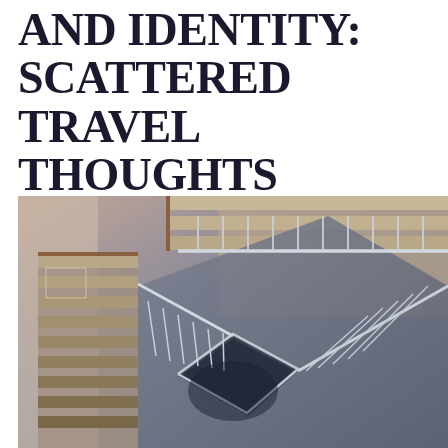AND IDENTITY: SCATTERED TRAVEL THOUGHTS
[Figure (photo): Aerial view looking straight down a spiral staircase with ornate white wrought-iron railings and warm brown wood steps, creating a geometric diamond-shaped opening at the bottom.]